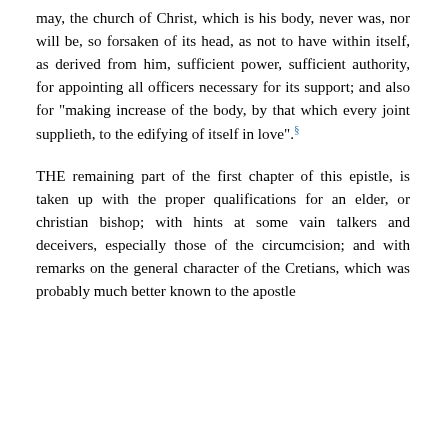may, the church of Christ, which is his body, never was, nor will be, so forsaken of its head, as not to have within itself, as derived from him, sufficient power, sufficient authority, for appointing all officers necessary for its support; and also for "making increase of the body, by that which every joint supplieth, to the edifying of itself in love".§
THE remaining part of the first chapter of this epistle, is taken up with the proper qualifications for an elder, or christian bishop; with hints at some vain talkers and deceivers, especially those of the circumcision; and with remarks on the general character of the Cretians, which was probably much better known to the apostle